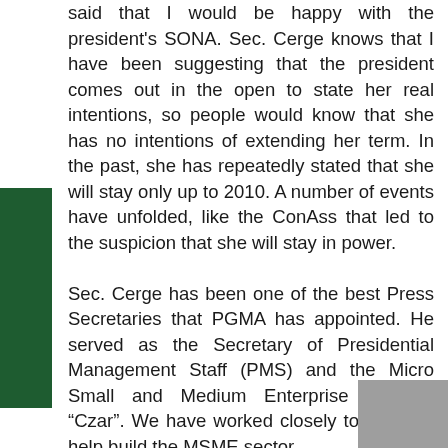said that I would be happy with the president's SONA. Sec. Cerge knows that I have been suggesting that the president comes out in the open to state her real intentions, so people would know that she has no intentions of extending her term. In the past, she has repeatedly stated that she will stay only up to 2010. A number of events have unfolded, like the ConAss that led to the suspicion that she will stay in power.

Sec. Cerge has been one of the best Press Secretaries that PGMA has appointed. He served as the Secretary of Presidential Management Staff (PMS) and the Micro Small and Medium Enterprise (MSME) “Czar”. We have worked closely together to help build the MSME sector.

Indeed, after hearing the President’s last SONA, I would say that it was one of the best – probably